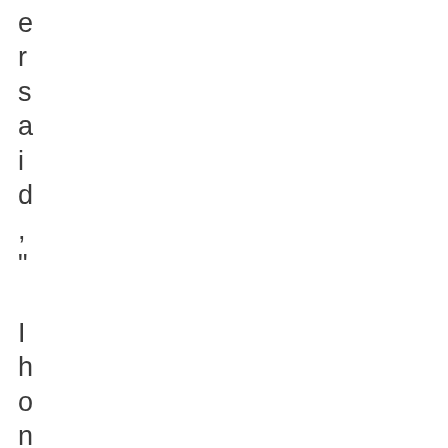ers said, "I honestly couldn't hav